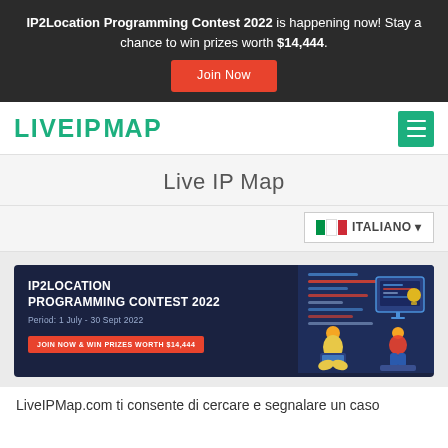IP2Location Programming Contest 2022 is happening now! Stay a chance to win prizes worth $14,444. Join Now
[Figure (logo): LIVEIPMAP logo in teal/green uppercase letters]
Live IP Map
ITALIANO (language selector dropdown with Italian flag)
[Figure (infographic): IP2Location Programming Contest 2022 banner. Period: 1 July - 30 Sept 2022. JOIN NOW & WIN PRIZES WORTH $14,444. Shows illustration of developer at computer.]
LiveIPMap.com ti consente di cercare e segnalare un caso